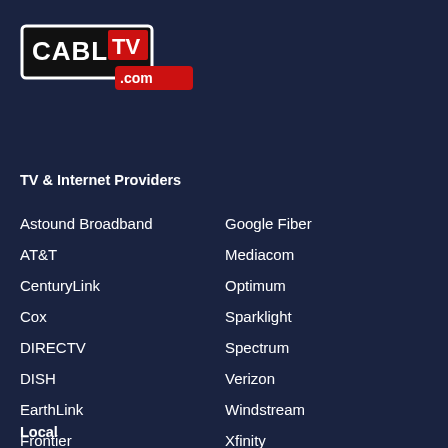[Figure (logo): CableTV.com logo with black rectangle containing CABLE text in white and TV in red rectangle with white text, with .com speech bubble]
TV & Internet Providers
Astound Broadband
Google Fiber
AT&T
Mediacom
CenturyLink
Optimum
Cox
Sparklight
DIRECTV
Spectrum
DISH
Verizon
EarthLink
Windstream
Frontier
Xfinity
Local